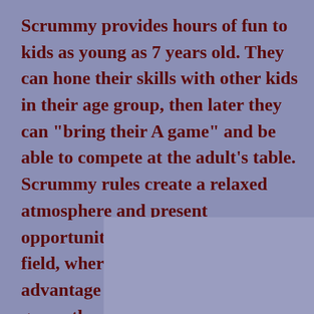Scrummy provides hours of fun to kids as young as 7 years old. They can hone their skills with other kids in their age group, then later they can "bring their A game" and be able to compete at the adult's table. Scrummy rules create a relaxed atmosphere and present opportunity for an even playing field, where age is less of an advantage to actually winning this game, than the attitude you bring to the table.
[Figure (photo): A lighter purple/lavender rectangular placeholder image area in the lower portion of the page]